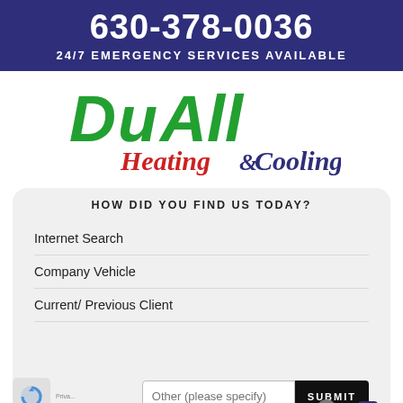630-378-0036
24/7 EMERGENCY SERVICES AVAILABLE
[Figure (logo): DuAll Heating & Cooling company logo with green and gray stylized text for DuAll and red/blue script for Heating & Cooling]
HOW DID YOU FIND US TODAY?
Internet Search
Company Vehicle
Current/ Previous Client